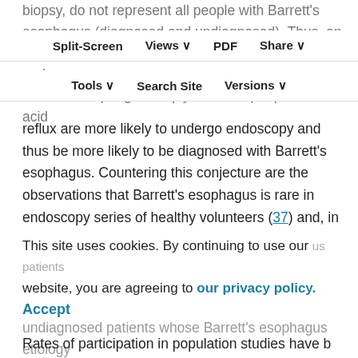biopsy, do not represent all people with Barrett's esophagus (diagnosed and undiagnosed). Thus, an association might be observed between acid reflux and Barrett's esophagus simply because people with acid
Split-Screen   Views   PDF   Share   Tools   Search Site   Versions
reflux are more likely to undergo endoscopy and thus be more likely to be diagnosed with Barrett's esophagus. Countering this conjecture are the observations that Barrett's esophagus is rare in endoscopy series of healthy volunteers (37) and, in population studies, Barrett's esophagus is diagnosed in <10% of patients with severe reflux who present for endoscopy (38). These data mitigate the likelihood of a “bottom-of-the-iceberg” pool of undiagnosed patients whose Barrett's esophagus etiology
This site uses cookies. By continuing to use our website, you are agreeing to our privacy policy.
Accept
Rates of participation in population studies have b